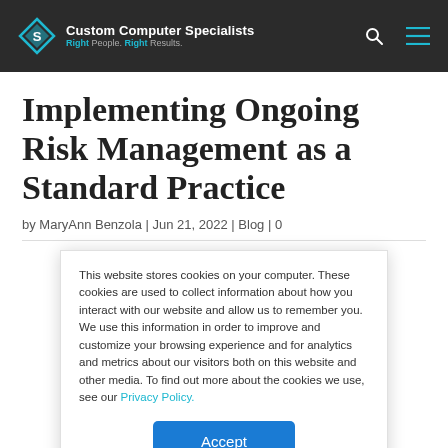Custom Computer Specialists — Right People. Right Results.
Implementing Ongoing Risk Management as a Standard Practice
by MaryAnn Benzola | Jun 21, 2022 | Blog | 0
This website stores cookies on your computer. These cookies are used to collect information about how you interact with our website and allow us to remember you. We use this information in order to improve and customize your browsing experience and for analytics and metrics about our visitors both on this website and other media. To find out more about the cookies we use, see our Privacy Policy.
Accept